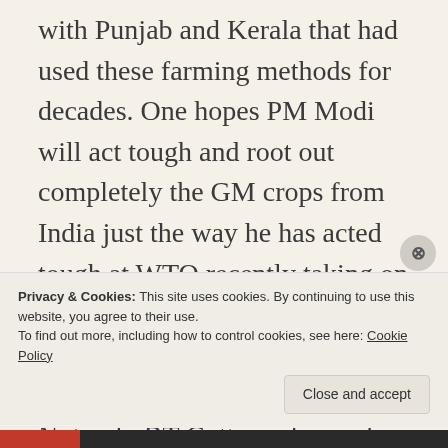with Punjab and Kerala that had used these farming methods for decades. One hopes PM Modi will act tough and root out completely the GM crops from India just the way he has acted tough at WTO recently taking on the west single-handed, securing our national interests and assuring us of our food security. Not only BT Cotton, please also check out how Amway has
Privacy & Cookies: This site uses cookies. By continuing to use this website, you agree to their use.
To find out more, including how to control cookies, see here: Cookie Policy
Close and accept